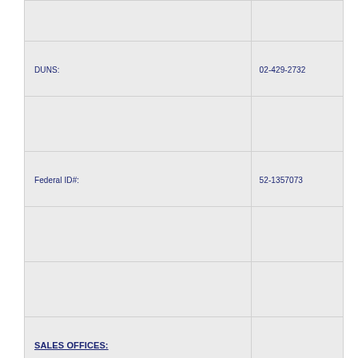|  |  |
| DUNS: | 02-429-2732 |
|  |  |
| Federal ID#: | 52-1357073 |
|  |  |
|  |  |
| SALES OFFICES: |  |
|  |  |
| Washington, D.C. | Baltimore, MD |
|  |  |
|  |  |